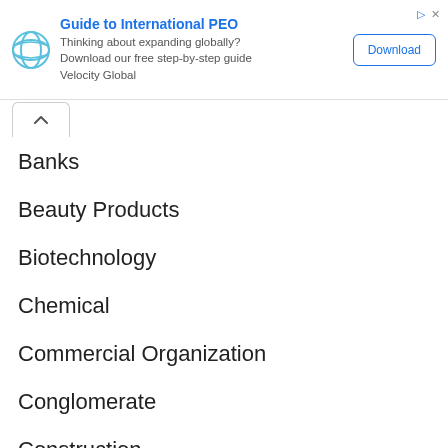[Figure (other): Advertisement banner: Guide to International PEO by Velocity Global. Contains logo, title, body text, and Download button.]
Banks
Beauty Products
Biotechnology
Chemical
Commercial Organization
Conglomerate
Construction
Consumer Goods
Defense